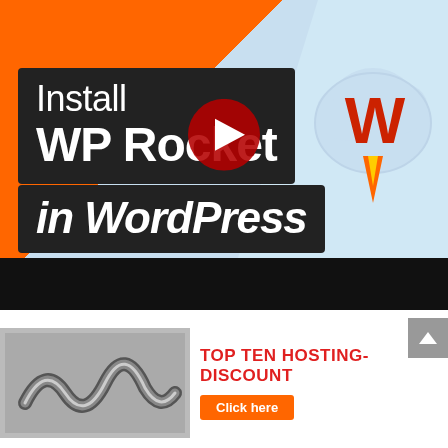[Figure (screenshot): YouTube video thumbnail showing 'Install WP Rocket in WordPress' with a large play button, orange and light-blue background, and the WordPress cloud/rocket logo]
[Figure (screenshot): Bottom section showing a small image of hosting-related 3D metal objects on the left, and 'TOP TEN HOSTING - DISCOUNT' text in red with an orange 'Click here' button on the right, plus a grey scroll-up arrow button in the top-right corner]